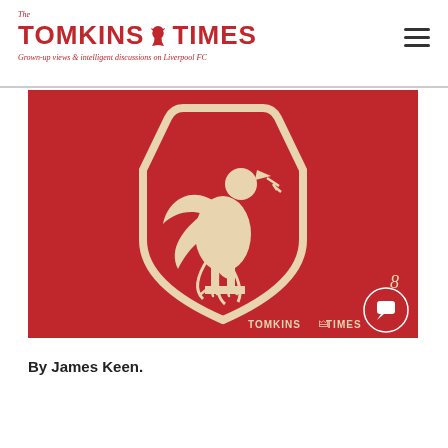The Tomkins Times — Grown-up views & intelligent discussions on Liverpool FC
[Figure (illustration): Liverpool FC crest / Liver bird logo on red background, with Tomkins Times watermark in bottom right. Red shield containing a cream/beige Liver bird with wings spread, holding a branch in its beak, standing on a plinth. Small number 8 visible bottom right. Tomkins Times logo watermark at bottom right of image. Red circular chat bubble icon overlaid bottom-right corner.]
By James Keen.